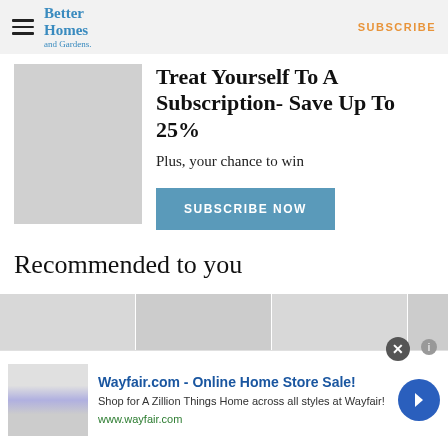Better Homes and Gardens | SUBSCRIBE
Treat Yourself To A Subscription- Save Up To 25%
Plus, your chance to win
SUBSCRIBE NOW
Recommended to you
[Figure (photo): Promotional magazine cover image placeholder]
[Figure (photo): Three recommended article thumbnail images]
[Figure (photo): Advertisement: Wayfair.com - Online Home Store Sale! Shop for A Zillion Things Home across all styles at Wayfair! www.wayfair.com]